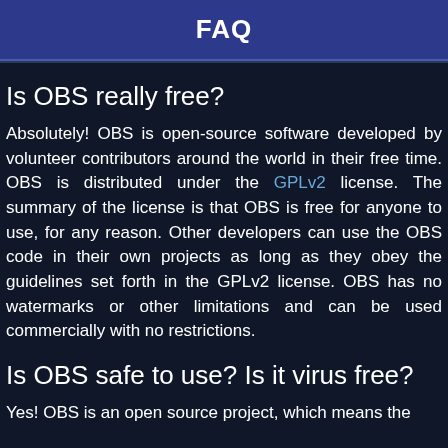FAQ
Is OBS really free?
Absolutely! OBS is open-source software developed by volunteer contributors around the world in their free time. OBS is distributed under the GPLv2 license. The summary of the license is that OBS is free for anyone to use, for any reason. Other developers can use the OBS code in their own projects as long as they obey the guidelines set forth in the GPLv2 license. OBS has no watermarks or other limitations and can be used commercially with no restrictions.
Is OBS safe to use? Is it virus free?
Yes! OBS is an open source project, which means the